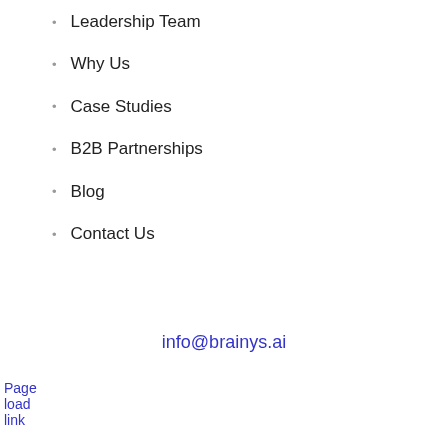Leadership Team
Why Us
Case Studies
B2B Partnerships
Blog
Contact Us
info@brainys.ai
Page load link